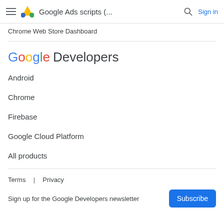Google Ads scripts (... Sign in
Chrome Web Store Dashboard
[Figure (logo): Google Developers logo text]
Android
Chrome
Firebase
Google Cloud Platform
All products
Terms  |  Privacy
Sign up for the Google Developers newsletter